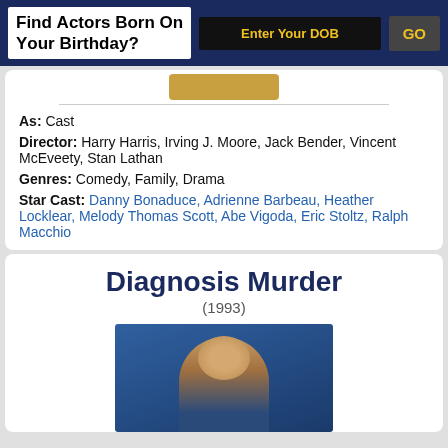Find Actors Born On Your Birthday? | Enter Your DOB | GO
As: Cast
Director: Harry Harris, Irving J. Moore, Jack Bender, Vincent McEveety, Stan Lathan
Genres: Comedy, Family, Drama
Star Cast: Danny Bonaduce, Adrienne Barbeau, Heather Locklear, Melody Thomas Scott, Abe Vigoda, Eric Stoltz, Ralph Macchio
Diagnosis Murder
(1993)
[Figure (photo): Photo of an actor for Diagnosis Murder (1993), partially visible.]